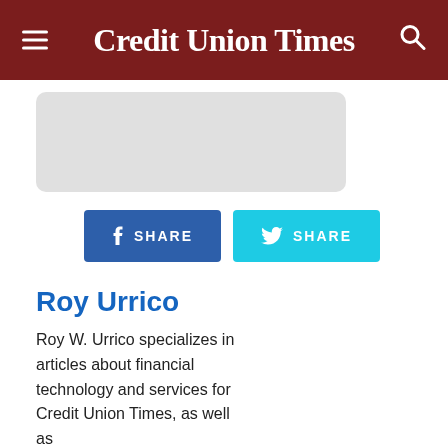Credit Union Times
[Figure (other): Gray rounded rectangle image placeholder]
[Figure (infographic): Facebook Share button and Twitter Share button]
Roy Urrico
Roy W. Urrico specializes in articles about financial technology and services for Credit Union Times, as well as